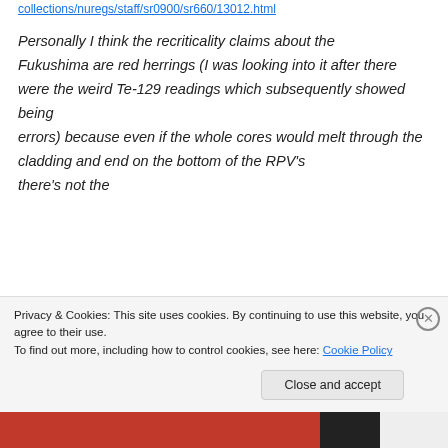collections/nuregs/staff/sr0900/sr660/13012.html
Personally I think the recriticality claims about the Fukushima are red herrings (I was looking into it after there were the weird Te-129 readings which subsequently showed being errors) because even if the whole cores would melt through the cladding and end on the bottom of the RPV’s there’s not the
Privacy & Cookies: This site uses cookies. By continuing to use this website, you agree to their use.
To find out more, including how to control cookies, see here: Cookie Policy
Close and accept